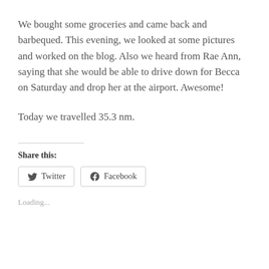We bought some groceries and came back and barbequed. This evening, we looked at some pictures and worked on the blog. Also we heard from Rae Ann, saying that she would be able to drive down for Becca on Saturday and drop her at the airport. Awesome!
Today we travelled 35.3 nm.
Share this:
Twitter  Facebook
Loading...